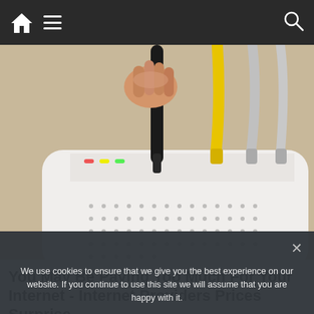Navigation bar with home icon, menu icon, and search icon
[Figure (photo): Close-up photo of a hand unplugging a black cable from a white internet router, with multiple colored ethernet cables plugged in (yellow, grey) visible on top of the router]
You May Be Paying Too Much For Your Internet - Internet Providers Prices Surprise...
Internet Providers | Search Ads | Sponsored
We use cookies to ensure that we give you the best experience on our website. If you continue to use this site we will assume that you are happy with it.
Ok